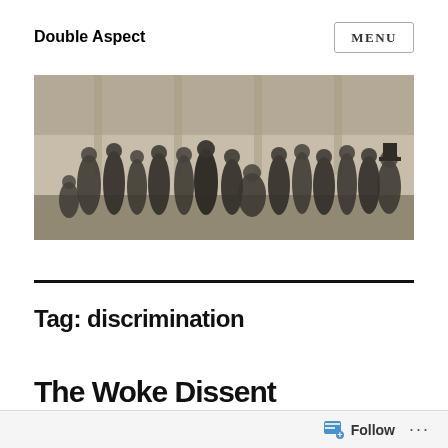Double Aspect
MENU
[Figure (photo): Black and white historical photograph showing a large group of men in 19th century formal attire, standing and sitting in front of a building with columns.]
Tag: discrimination
The Woke Dissent
Follow ...